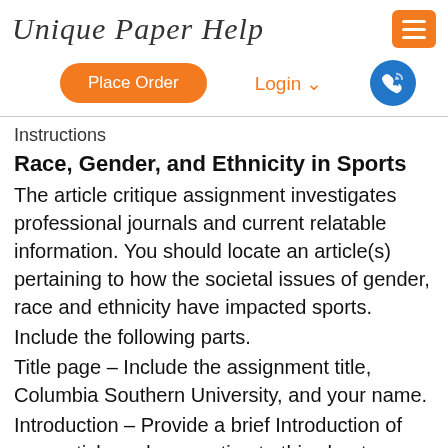Unique Paper Help
Place Order  Login  [phone icon]
Instructions
Race, Gender, and Ethnicity in Sports
The article critique assignment investigates professional journals and current relatable information. You should locate an article(s) pertaining to how the societal issues of gender, race and ethnicity have impacted sports.
Include the following parts.
Title page – Include the assignment title, Columbia Southern University, and your name.
Introduction – Provide a brief Introduction of your article and connection to this chapters topic.
Article summary – Summarize the article. List the main points that the author has tried to establish (i.e., 1, 2, 3 or